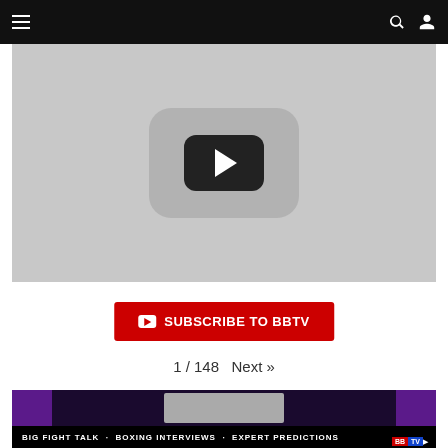Navigation bar with hamburger menu, search, and user icons
[Figure (screenshot): YouTube video thumbnail placeholder showing a YouTube play button on a gray background]
SUBSCRIBE TO BBTV
1 / 148  Next »
[Figure (screenshot): Bottom portion of a BBTV boxing video thumbnail showing BIG FIGHT TALK - BOXING INTERVIEWS - EXPERT PREDICTIONS ticker and BBTV logo]